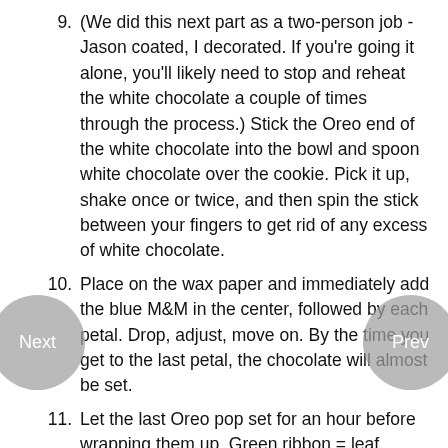9. (We did this next part as a two-person job - Jason coated, I decorated. If you're going it alone, you'll likely need to stop and reheat the white chocolate a couple of times through the process.) Stick the Oreo end of the white chocolate into the bowl and spoon white chocolate over the cookie. Pick it up, shake once or twice, and then spin the stick between your fingers to get rid of any excess of white chocolate.
10. Place on the wax paper and immediately add the blue M&M in the center, followed by each petal. Drop, adjust, move on. By the time you get to the last petal, the chocolate will almost be set.
11. Let the last Oreo pop set for an hour before wrapping them up. Green ribbon = leaf